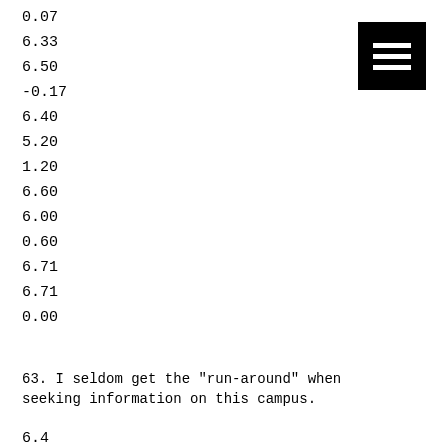0.07
6.33
6.50
-0.17
6.40
5.20
1.20
6.60
6.00
0.60
6.71
6.71
0.00
[Figure (other): Hamburger menu icon — black square with three white horizontal lines]
63. I seldom get the "run-around" when seeking information on this campus.
6.42